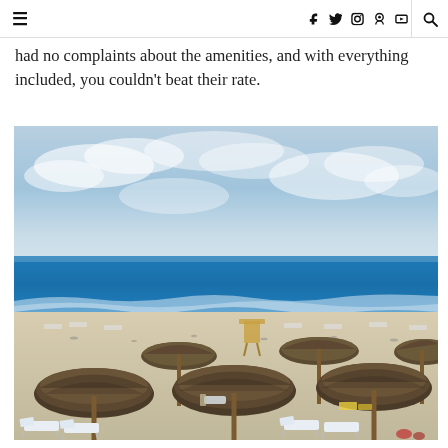≡  f  twitter  instagram  pinterest  youtube  search
had no complaints about the amenities, and with everything included, you couldn't beat their rate.
[Figure (photo): Beach view with thatched palapa umbrellas, white sand, turquoise ocean water, blue sky with clouds, and beach chairs. Cancun resort beach scene.]